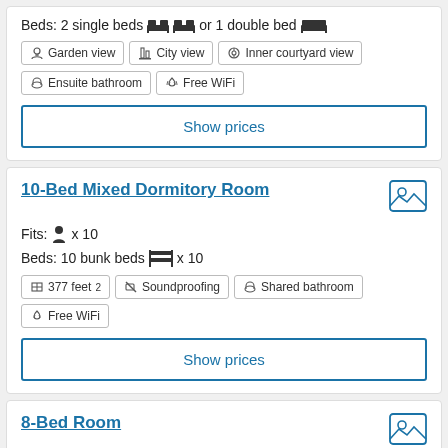Beds: 2 single beds 🛏 🛏 or 1 double bed 🛏
Garden view | City view | Inner courtyard view
Ensuite bathroom | Free WiFi
Show prices
10-Bed Mixed Dormitory Room
Fits: 👤 x 10
Beds: 10 bunk beds 🛏 x 10
377 feet² | Soundproofing | Shared bathroom | Free WiFi
Show prices
8-Bed Room
Fits: 👤 x 8